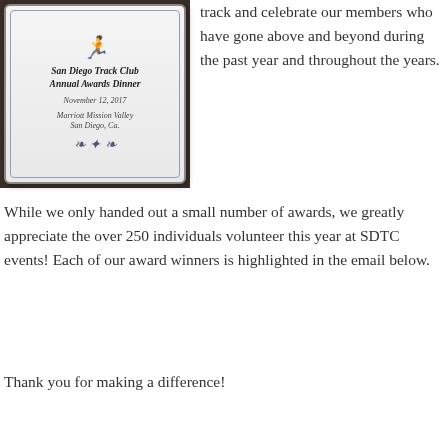[Figure (photo): Photo of a San Diego Track Club Annual Awards Dinner plaque/program dated November 12, 2017 at Marriott Mission Valley, San Diego, Ca.]
track and celebrate our members who have gone above and beyond during the past year and throughout the years.
While we only handed out a small number of awards, we greatly appreciate the over 250 individuals volunteer this year at SDTC events! Each of our award winners is highlighted in the email below.
Thank you for making a difference!